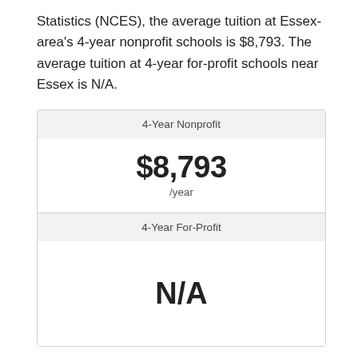Statistics (NCES), the average tuition at Essex-area's 4-year nonprofit schools is $8,793. The average tuition at 4-year for-profit schools near Essex is N/A.
| Category | Value |
| --- | --- |
| 4-Year Nonprofit | $8,793 /year |
| 4-Year For-Profit | N/A |
Accredited Colleges for